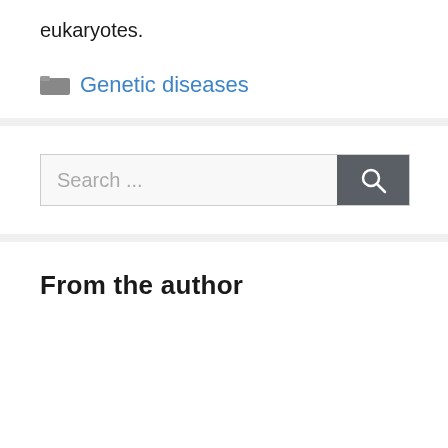eukaryotes.
Genetic diseases
[Figure (screenshot): Search bar with text 'Search ...' and a dark grey search button with magnifying glass icon]
From the author